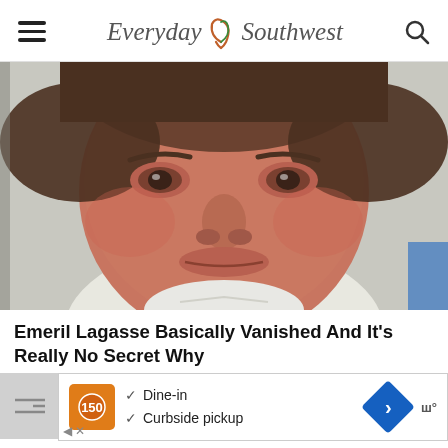Everyday Southwest
[Figure (photo): Close-up photo of a middle-aged man with dark hair, reddish complexion, wearing a white shirt, partially cropped at the edges]
Emeril Lagasse Basically Vanished And It's Really No Secret Why
[Figure (infographic): Advertisement banner showing restaurant options: Dine-in and Curbside pickup, with logos and navigation icons]